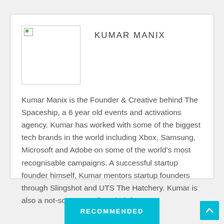[Figure (photo): Profile photo placeholder for Kumar Manix — broken image icon in a bordered box]
KUMAR MANIX
Kumar Manix is the Founder & Creative behind The Spaceship, a 6 year old events and activations agency. Kumar has worked with some of the biggest tech brands in the world including Xbox, Samsung, Microsoft and Adobe on some of the world’s most recognisable campaigns. A successful startup founder himself, Kumar mentors startup founders through Slingshot and UTS The Hatchery. Kumar is also a not-so-secret Silverchair fan.
RECOMMENDED